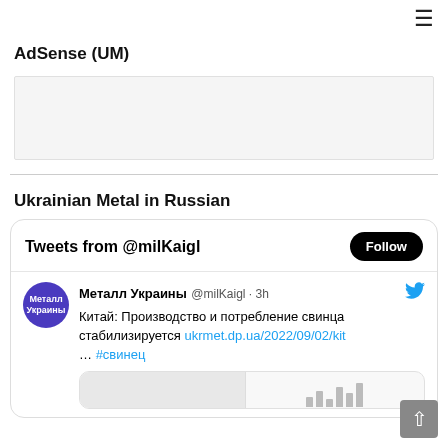≡
AdSense (UM)
[Figure (other): Advertisement placeholder area]
Ukrainian Metal in Russian
[Figure (screenshot): Twitter widget showing tweets from @milKaigl. Contains tweet from Металл Украины @milKaigl · 3h: Китай: Производство и потребление свинца стабилизируется ukrmet.dp.ua/2022/09/02/kit … #свинец. Includes a Follow button and a tweet image preview with bar chart.]